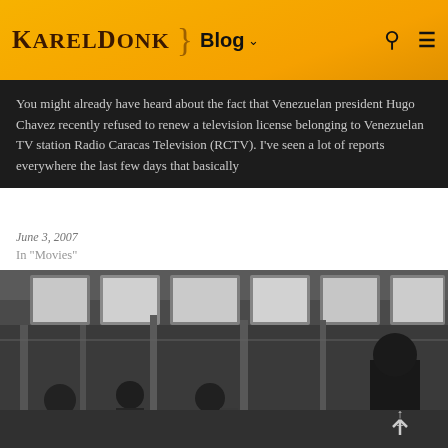KarelDonk } Blog ▾
You might already have heard about the fact that Venezuelan president Hugo Chavez recently refused to renew a television license belonging to Venezuelan TV station Radio Caracas Television (RCTV). I've seen a lot of reports everywhere the last few days that basically
June 3, 2007
In "Movies"
[Figure (photo): Grayscale photograph of people in what appears to be an indoor space with large windows, partitions or dividers, and several figures in the background. A back-to-top arrow icon is overlaid in the bottom right corner.]